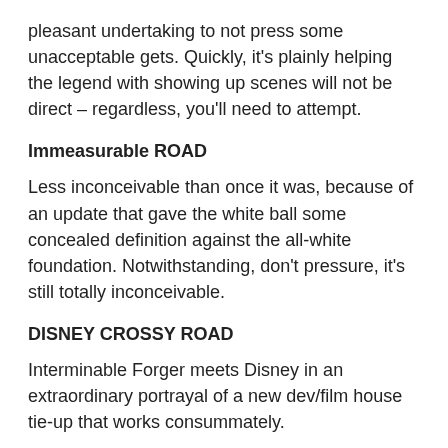pleasant undertaking to not press some unacceptable gets. Quickly, it's plainly helping the legend with showing up scenes will not be direct – regardless, you'll need to attempt.
Immeasurable ROAD
Less inconceivable than once it was, because of an update that gave the white ball some concealed definition against the all-white foundation. Notwithstanding, don't pressure, it's still totally inconceivable.
DISNEY CROSSY ROAD
Interminable Forger meets Disney in an extraordinary portrayal of a new dev/film house tie-up that works consummately.
The specialists will be ordinary to any individual who's played the fantastic exceptional — tap and swipe to have a blocky holy person weave through traffic and deftly bounce across streams.
The expansion of Disney characters, in any case, discover you attracting your way through retro kinds of acclaimed revived